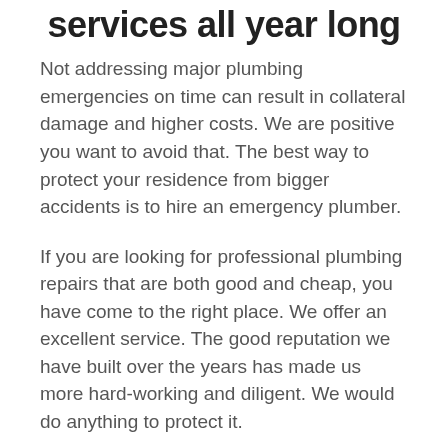services all year long
Not addressing major plumbing emergencies on time can result in collateral damage and higher costs. We are positive you want to avoid that. The best way to protect your residence from bigger accidents is to hire an emergency plumber.
If you are looking for professional plumbing repairs that are both good and cheap, you have come to the right place. We offer an excellent service. The good reputation we have built over the years has made us more hard-working and diligent. We would do anything to protect it.
Do not hesitate to hire our trusted emergency plumber, regardless of the issue you are dealing with.
Get a detailed quote or give us a call regardless of whether you have a plumbing emergency or just need